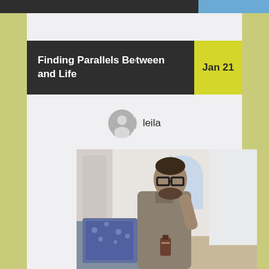Finding Parallels Between and Life
Jan 21
leila
[Figure (photo): A man with glasses and a beard, wearing a grey polo shirt, sitting on a couch with a decorative pillow, holding a bottle of cologne/fragrance. Interior background with arched window and white decor.]